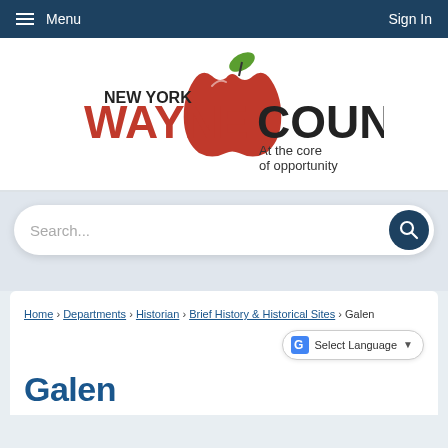Menu   Sign In
[Figure (logo): New York Wayne County logo with apple graphic and tagline 'At the core of opportunity']
Search...
Home › Departments › Historian › Brief History & Historical Sites › Galen
Select Language
Galen